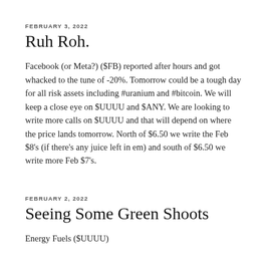FEBRUARY 3, 2022
Ruh Roh.
Facebook (or Meta?) ($FB) reported after hours and got whacked to the tune of -20%. Tomorrow could be a tough day for all risk assets including #uranium and #bitcoin. We will keep a close eye on $UUUU and $ANY. We are looking to write more calls on $UUUU and that will depend on where the price lands tomorrow. North of $6.50 we write the Feb $8's (if there's any juice left in em) and south of $6.50 we write more Feb $7's.
FEBRUARY 2, 2022
Seeing Some Green Shoots
Energy Fuels ($UUUU)